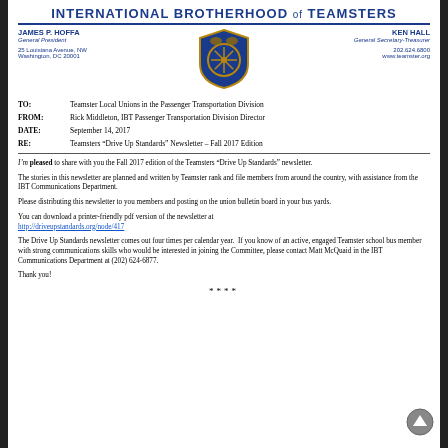INTERNATIONAL BROTHERHOOD of TEAMSTERS
JAMES P. HOFFA
General President
25 Louisiana Avenue, NW
Washington, DC 20001
[Figure (logo): Teamsters shield/emblem logo in blue and gold]
KEN HALL
General Secretary-Treasurer
202.624.6800
www.teamster.org
TO:   Teamster Local Unions in the Passenger Transportation Division
FROM: Rick Middleton, IBT Passenger Transportation Division Director
DATE: September 14, 2017
RE:   Teamsters “Drive Up Standards” Newsletter – Fall 2017 Edition
I’m pleased to share with you the Fall 2017 edition of the Teamsters “Drive Up Standards” newsletter.
The stories in this newsletter are planned and written by Teamster rank and file members from around the country, with assistance from the IBT Communications Department.
Please distributing this newsletter to you members and posting on the union bulletin board in your bus yards.
You can download a printer-friendly pdf version of the newsletter at http://driveupstandards.org/node/417
The Drive Up Standards newsletter comes out four times per calendar year.  If you know of an active, engaged Teamster school bus member with strong communications skills who would be interested in joining the Committee, please contact Matt McQuaid in the IBT Communications Department at (202) 624-6877.
Thank you!
****